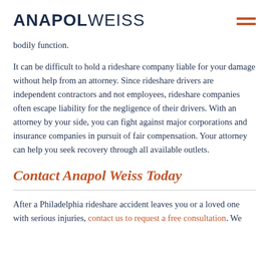ANAPOLWEISS
bodily function.
It can be difficult to hold a rideshare company liable for your damage without help from an attorney. Since rideshare drivers are independent contractors and not employees, rideshare companies often escape liability for the negligence of their drivers. With an attorney by your side, you can fight against major corporations and insurance companies in pursuit of fair compensation. Your attorney can help you seek recovery through all available outlets.
Contact Anapol Weiss Today
After a Philadelphia rideshare accident leaves you or a loved one with serious injuries, contact us to request a free consultation. We